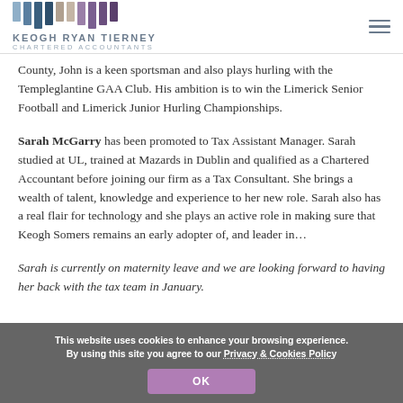KEOGH RYAN TIERNEY CHARTERED ACCOUNTANTS
County, John is a keen sportsman and also plays hurling with the Templeglantine GAA Club. His ambition is to win the Limerick Senior Football and Limerick Junior Hurling Championships.
Sarah McGarry has been promoted to Tax Assistant Manager. Sarah studied at UL, trained at Mazards in Dublin and qualified as a Chartered Accountant before joining our firm as a Tax Consultant. She brings a wealth of talent, knowledge and experience to her new role. Sarah also has a real flair for technology and she plays an active role in making sure that Keogh Somers remains an early adopter of, and leader in...
Sarah is currently on maternity leave and we are looking forward to having her back with the tax team in January.
This website uses cookies to enhance your browsing experience. By using this site you agree to our Privacy & Cookies Policy OK